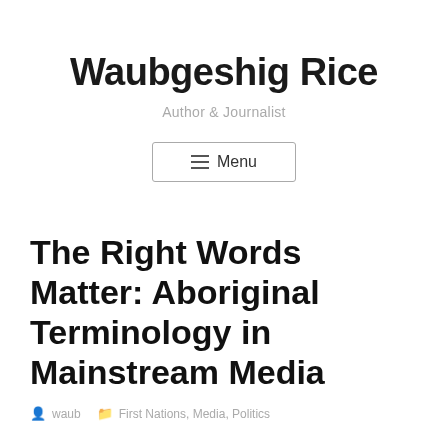Waubgeshig Rice
Author & Journalist
≡ Menu
The Right Words Matter: Aboriginal Terminology in Mainstream Media
waub   First Nations, Media, Politics